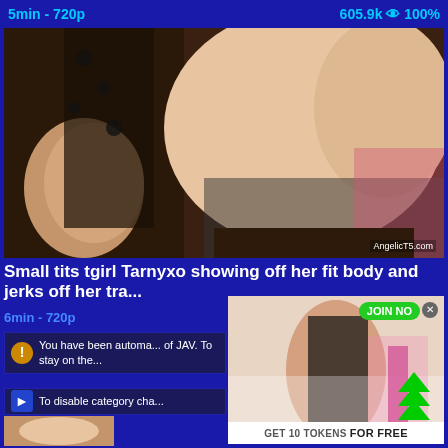5min - 720p   605.9k 👁 100%
[Figure (photo): Video thumbnail showing adult content with watermark AngelicT5.com]
Small tits tgirl Tarnyxo showing off her fit body and jerks off her tra...
6min - 720p
You have been automa... of JAV. To stay on the...
To disable category cha...
[Figure (photo): Advertisement overlay with JOIN NOW button, green arrows, and GET 10 TOKENS FOR FREE banner]